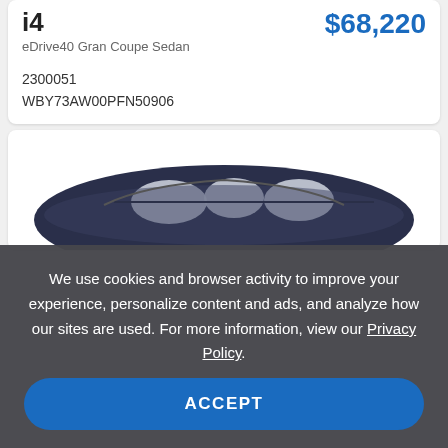i4
$68,220
eDrive40 Gran Coupe Sedan
2300051
WBY73AW00PFN50906
[Figure (photo): BMW i4 car photo, top-down angle showing dark blue exterior and light interior, partially visible]
We use cookies and browser activity to improve your experience, personalize content and ads, and analyze how our sites are used. For more information, view our Privacy Policy.
ACCEPT